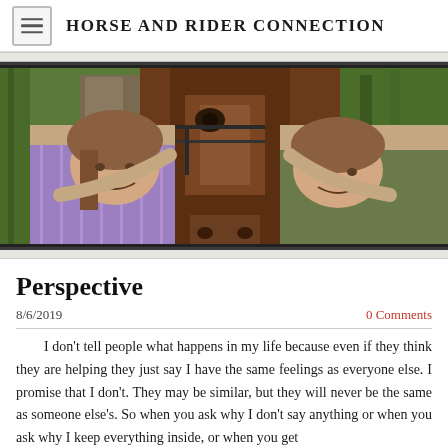HORSE AND RIDER CONNECTION
[Figure (photo): Two young women leaning their faces against a brown horse's head, in front of a barn with ivy-covered walls]
Perspective
8/6/2019
0 Comments
I don't tell people what happens in my life because even if they think they are helping they just say I have the same feelings as everyone else. I promise that I don't. They may be similar, but they will never be the same as someone else's. So when you ask why I don't say anything or when you ask why I keep everything inside, or when you get